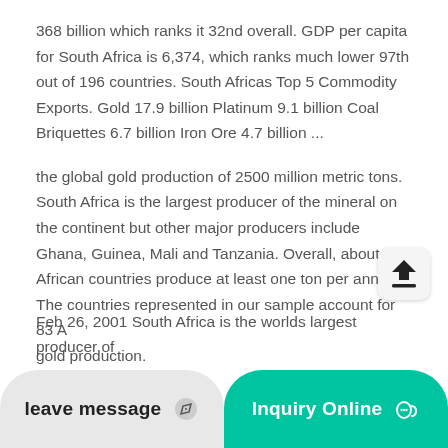368 billion which ranks it 32nd overall. GDP per capita for South Africa is 6,374, which ranks much lower 97th out of 196 countries. South Africas Top 5 Commodity Exports. Gold 17.9 billion Platinum 9.1 billion Coal Briquettes 6.7 billion Iron Ore 4.7 billion ...
the global gold production of 2500 million metric tons. South Africa is the largest producer of the mineral on the continent but other major producers include Ghana, Guinea, Mali and Tanzania. Overall, about 20 African countries produce at least one ton per annum. The countries represented in our sample account for 83 A gold production.
Feb 26, 2001 South Africa is the worlds largest producer of
about 60,000 metric tons...